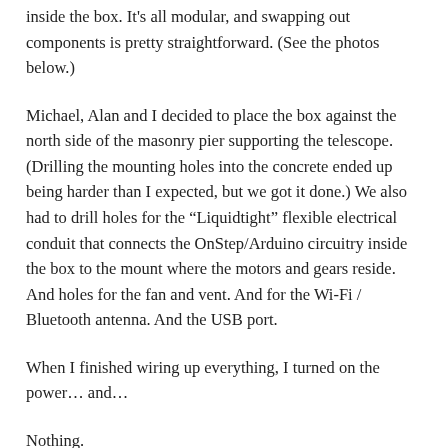inside the box. It's all modular, and swapping out components is pretty straightforward. (See the photos below.)
Michael, Alan and I decided to place the box against the north side of the masonry pier supporting the telescope. (Drilling the mounting holes into the concrete ended up being harder than I expected, but we got it done.) We also had to drill holes for the “Liquidtight” flexible electrical conduit that connects the OnStep/Arduino circuitry inside the box to the mount where the motors and gears reside. And holes for the fan and vent. And for the Wi-Fi / Bluetooth antenna. And the USB port.
When I finished wiring up everything, I turned on the power… and…
Nothing.